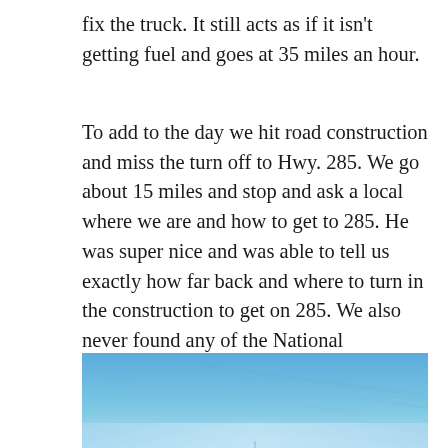fix the truck. It still acts as if it isn't getting fuel and goes at 35 miles an hour.
To add to the day we hit road construction and miss the turn off to Hwy. 285. We go about 15 miles and stop and ask a local where we are and how to get to 285. He was super nice and was able to tell us exactly how far back and where to turn in the construction to get on 285. We also never found any of the National Monuments along the way even though I was looking for them. Oh well, at this point we just want to get there.
[Figure (photo): A photograph showing a blue sky with some light diagonal lines or wires visible, with a lighter horizon at the bottom]